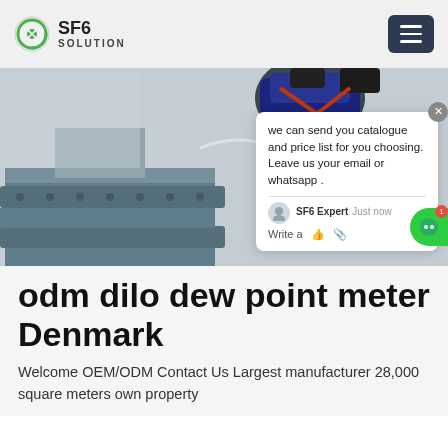SF6 SOLUTION
[Figure (photo): Worker in blue overalls climbing or working on large industrial pipes/flanges, viewed from below. A live chat popup overlay is visible on the right side of the image showing a message from SF6 Expert.]
odm dilo dew point meter Denmark
Welcome OEM/ODM Contact Us Largest manufacturer 28,000 square meters own property